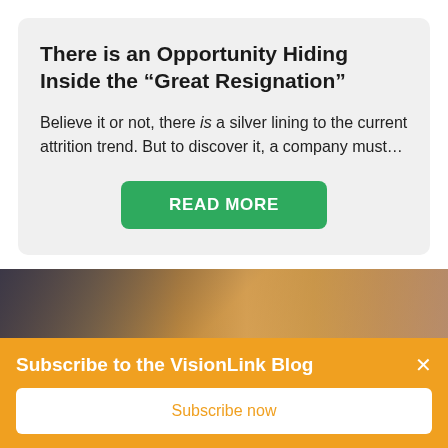There is an Opportunity Hiding Inside the “Great Resignation”
Believe it or not, there is a silver lining to the current attrition trend. But to discover it, a company must…
READ MORE
[Figure (photo): Photo of people in a warm, sunlit setting with orange and golden tones]
Subscribe to the VisionLink Blog
Subscribe now